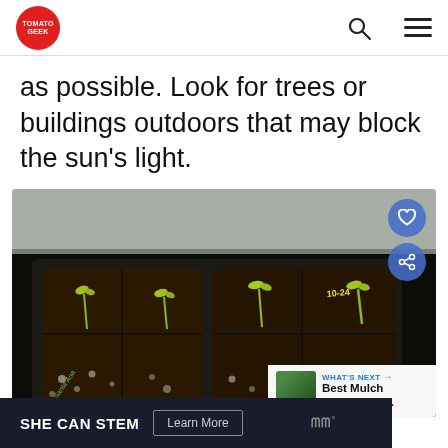Tomato Geek
as possible. Look for trees or buildings outdoors that may block the sun's light.
[Figure (photo): Close-up photo of seed starting trays filled with soil and small seedlings/sprouts emerging, with plant labels/tags visible in the tray cells. Social share buttons (heart and share) overlay the right side. A 'What's Next' panel shows a thumbnail and link to 'Best Mulch For Tomato...']
SHE CAN STEM   Learn More